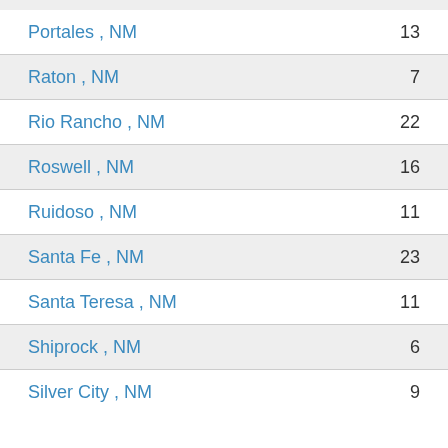Portales , NM — 13
Raton , NM — 7
Rio Rancho , NM — 22
Roswell , NM — 16
Ruidoso , NM — 11
Santa Fe , NM — 23
Santa Teresa , NM — 11
Shiprock , NM — 6
Silver City , NM — 9